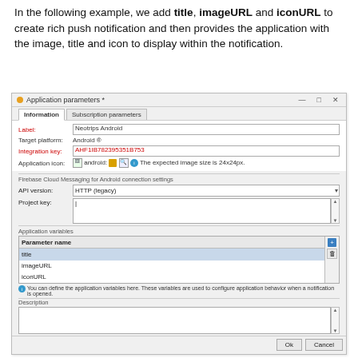In the following example, we add title, imageURL and iconURL to create rich push notification and then provides the application with the image, title and icon to display within the notification.
[Figure (screenshot): Application parameters dialog window showing Information and Subscription parameters tabs. Fields include Label (Neotrips Android), Target platform (Android ®), Integration key (red, value shown), Application icon, Firebase Cloud Messaging for Android connection settings with API version (HTTP (legacy)) and Project key textarea. Application variables table with Parameter name column listing title, imageURL, iconURL. Info note about defining application variables. Description section. Ok and Cancel buttons.]